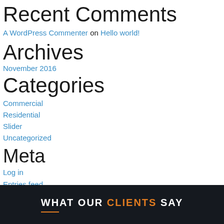Recent Comments
A WordPress Commenter on Hello world!
Archives
November 2016
Categories
Commercial
Residential
Slider
Uncategorized
Meta
Log in
Entries feed
Comments feed
WordPress.org
WHAT OUR CLIENTS SAY